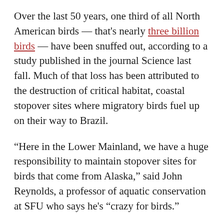Over the last 50 years, one third of all North American birds — that's nearly three billion birds — have been snuffed out, according to a study published in the journal Science last fall. Much of that loss has been attributed to the destruction of critical habitat, coastal stopover sites where migratory birds fuel up on their way to Brazil.
“Here in the Lower Mainland, we have a huge responsibility to maintain stopover sites for birds that come from Alaska,” said John Reynolds, a professor of aquatic conservation at SFU who says he's "crazy for birds."
Reynolds said the Lower Fraser River has lost about 90% of its wetlands in the past 100 years. Draining and diking so many watersheds has had a major impact on salmon but it has also removed the nesting grounds